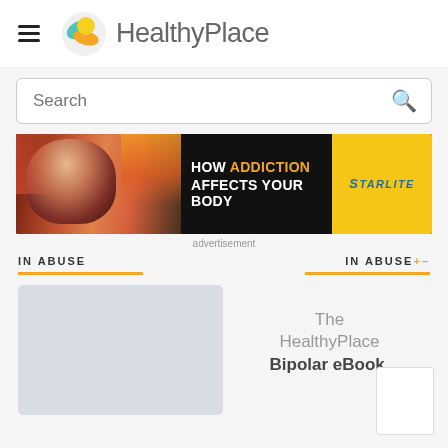[Figure (logo): HealthyPlace website header with hamburger menu, circular logo (teal/orange/yellow), and HealthyPlace brand name]
Search
[Figure (infographic): Advertisement banner: HOW ADDICTION AFFECTS YOUR BODY - Starlite, with photo of woman's face]
advertisement
IN ABUSE
IN ABUSE+-
[Figure (other): Card placeholder image (gray rectangle)]
The HealthyPlace Bipolar eBook.